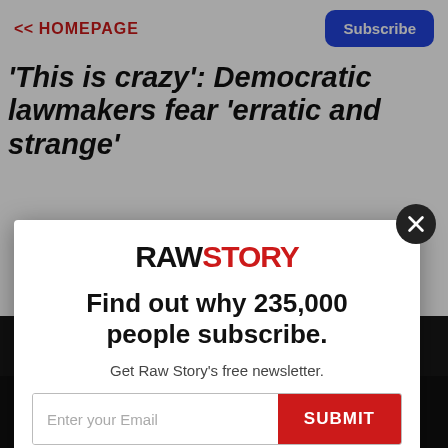<< HOMEPAGE | Subscribe
'This is crazy': Democratic lawmakers fear 'erratic and strange'
[Figure (screenshot): Raw Story newsletter subscription modal popup overlay on a news article page, showing the Raw Story logo, headline 'Find out why 235,000 people subscribe.', subtext 'Get Raw Story's free newsletter.', email input field, and SUBMIT button. Behind the modal is a partially visible news article headline and a photo of a person speaking at a microphone.]
Find out why 235,000 people subscribe.
Get Raw Story's free newsletter.
Enter your Email
SUBMIT